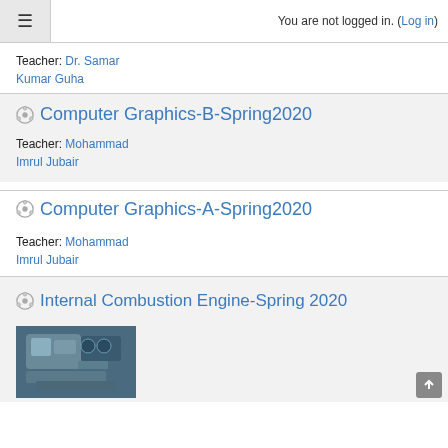You are not logged in. (Log in)
Teacher: Dr. Samar Kumar Guha
Computer Graphics-B-Spring2020
Teacher: Mohammad Imrul Jubair
Computer Graphics-A-Spring2020
Teacher: Mohammad Imrul Jubair
Internal Combustion Engine-Spring 2020
[Figure (photo): Photo of an internal combustion engine, metallic silver components visible]